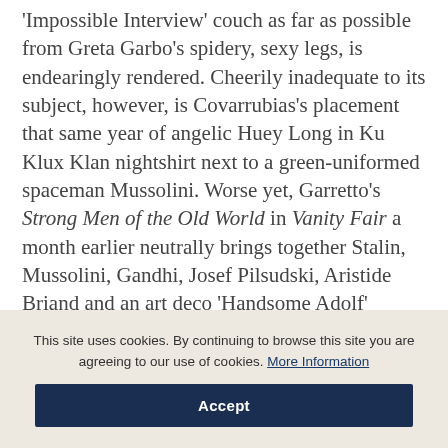'Impossible Interview' couch as far as possible from Greta Garbo's spidery, sexy legs, is endearingly rendered. Cheerily inadequate to its subject, however, is Covarrubias's placement that same year of angelic Huey Long in Ku Klux Klan nightshirt next to a green-uniformed spaceman Mussolini. Worse yet, Garretto's Strong Men of the Old World in Vanity Fair a month earlier neutrally brings together Stalin, Mussolini, Gandhi, Josef Pilsudski, Aristide Briand and an art deco 'Handsome Adolf' Hitler. No photograph could
This site uses cookies. By continuing to browse this site you are agreeing to our use of cookies. More Information
Accept